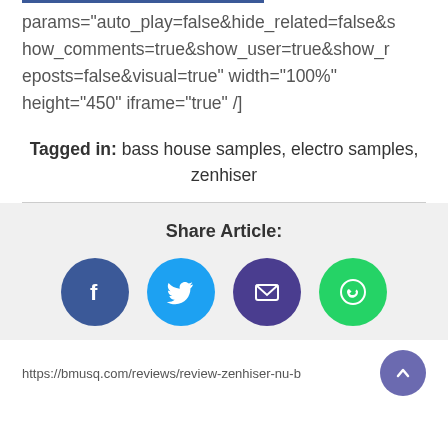params="auto_play=false&hide_related=false&show_comments=true&show_user=true&show_reposts=false&visual=true" width="100%" height="450" iframe="true" /]
Tagged in: bass house samples, electro samples, zenhiser
Share Article:
[Figure (infographic): Four social share icon circles: Facebook (blue), Twitter (light blue), Email (dark purple), WhatsApp (green)]
https://bmusq.com/reviews/review-zenhiser-nu-b